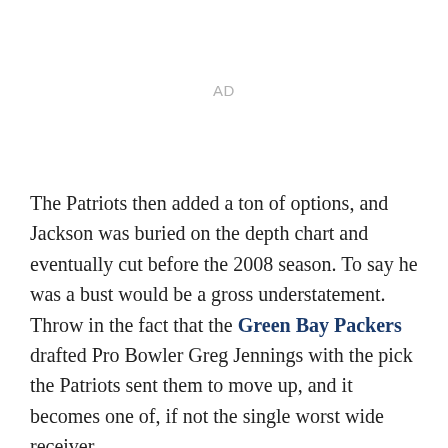AD
The Patriots then added a ton of options, and Jackson was buried on the depth chart and eventually cut before the 2008 season. To say he was a bust would be a gross understatement. Throw in the fact that the Green Bay Packers drafted Pro Bowler Greg Jennings with the pick the Patriots sent them to move up, and it becomes one of, if not the single worst wide receiver